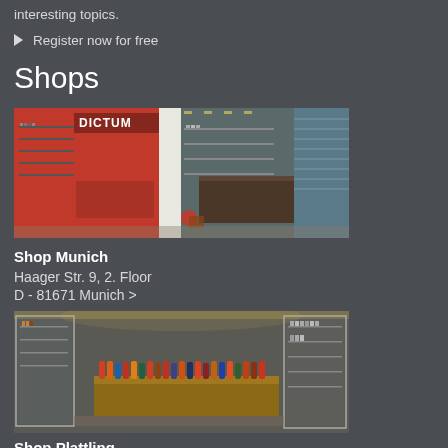interesting topics.
Register now for free
Shops
[Figure (photo): Interior of DICTUM Shop Munich showing red walls, product displays with tools and knives on shelves, wooden counters, and a modern open layout.]
Shop Munich
Haager Str. 9, 2. Floor
D - 81671 Munich >
[Figure (photo): Interior of Shop Plattling showing glass display cases filled with tools and knives, a large central wooden workbench with colorful tool handles displayed on top.]
Shop Plattling